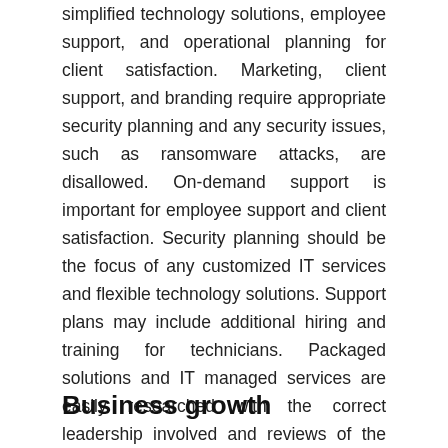simplified technology solutions, employee support, and operational planning for client satisfaction. Marketing, client support, and branding require appropriate security planning and any security issues, such as ransomware attacks, are disallowed. On-demand support is important for employee support and client satisfaction. Security planning should be the focus of any customized IT services and flexible technology solutions. Support plans may include additional hiring and training for technicians. Packaged solutions and IT managed services are easily researched with the correct leadership involved and reviews of the cost-benefit analysis. Effectively managed IT support can help prepare a company for leading-edge technologies, cost savings, and marketing strategies. The improved promotions for profitability are part of the smart leadership of a successful business.
Business growth